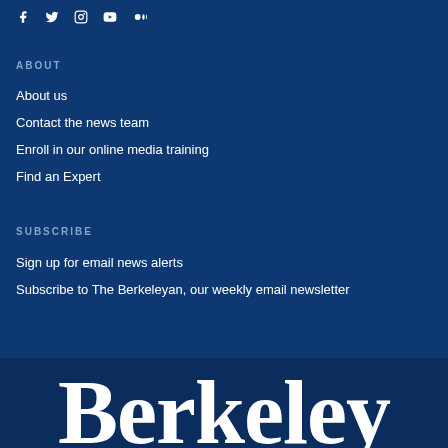[Figure (other): Social media icons: Facebook, Twitter, Instagram, YouTube, Medium]
ABOUT
About us
Contact the news team
Enroll in our online media training
Find an Expert
SUBSCRIBE
Sign up for email news alerts
Subscribe to The Berkeleyan, our weekly email newsletter
Berkeley